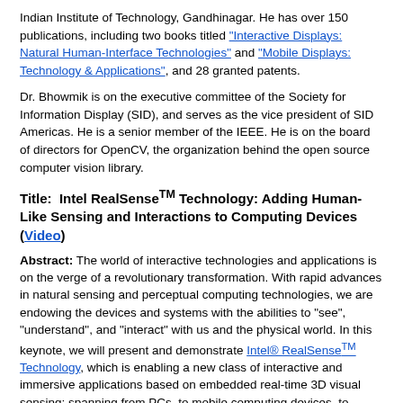Indian Institute of Technology, Gandhinagar. He has over 150 publications, including two books titled "Interactive Displays: Natural Human-Interface Technologies" and "Mobile Displays: Technology & Applications", and 28 granted patents.
Dr. Bhowmik is on the executive committee of the Society for Information Display (SID), and serves as the vice president of SID Americas. He is a senior member of the IEEE. He is on the board of directors for OpenCV, the organization behind the open source computer vision library.
Title:  Intel RealSenseTM Technology: Adding Human-Like Sensing and Interactions to Computing Devices (Video)
Abstract: The world of interactive technologies and applications is on the verge of a revolutionary transformation. With rapid advances in natural sensing and perceptual computing technologies, we are endowing the devices and systems with the abilities to "see", "understand", and "interact" with us and the physical world. In this keynote, we will present and demonstrate Intel® RealSenseTM Technology, which is enabling a new class of interactive and immersive applications based on embedded real-time 3D visual sensing; spanning from PCs, to mobile computing devices, to intelligent robotics and internet-of-things, blurring the border between the real and the virtual words